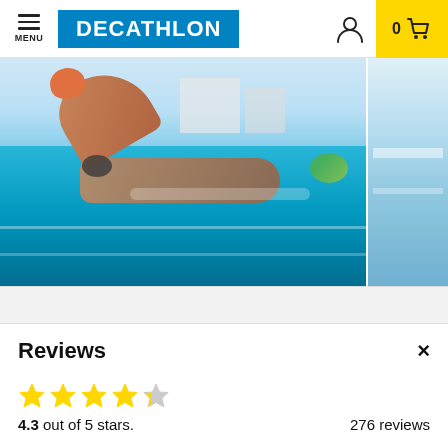DECATHLON - MENU - 0 (cart)
[Figure (photo): Swimmer doing freestyle stroke in an outdoor swimming pool, split underwater/above-water view showing the swimmer's body and arms. A second partial image is visible on the right edge showing water splashing.]
Reviews
4.3 out of 5 stars.   276 reviews